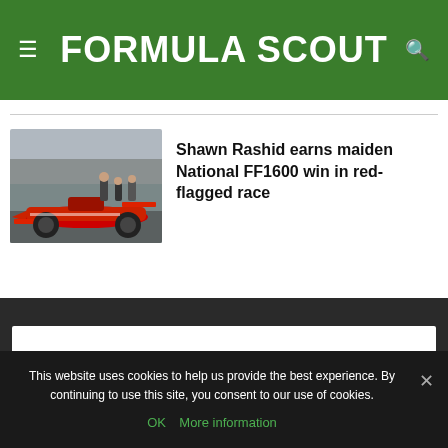FORMULA SCOUT
[Figure (photo): Red Formula Ford 1600 racing car on pit lane with people in background]
Shawn Rashid earns maiden National FF1600 win in red-flagged race
This website uses cookies to help us provide the best experience. By continuing to use this site, you consent to our use of cookies.
OK   More information